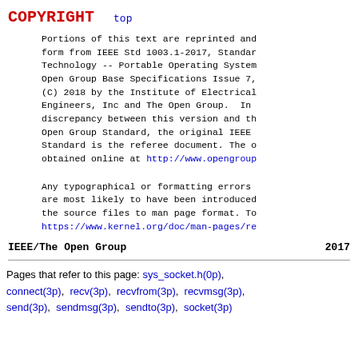COPYRIGHT    top
Portions of this text are reprinted and reproduced in form from IEEE Std 1003.1-2017, Standard for Information Technology -- Portable Operating System Interface (POSIX), The Open Group Base Specifications Issue 7, 2018 Edition, Copyright (C) 2018 by the Institute of Electrical and Electronics Engineers, Inc and The Open Group. In the event of any discrepancy between this version and the original IEEE and The Open Group Standard, the original IEEE and The Open Group Standard is the referee document. The online version can be obtained online at http://www.opengroup.org/unix/online.html.
Any typographical or formatting errors that appear in this page are most likely to have been introduced during the conversion of the source files to man page format. To report such errors, see https://www.kernel.org/doc/man-pages/reporting_bugs.html.
IEEE/The Open Group    2017
Pages that refer to this page: sys_socket.h(0p), connect(3p), recv(3p), recvfrom(3p), recvmsg(3p), send(3p), sendmsg(3p), sendto(3p), socket(3p)